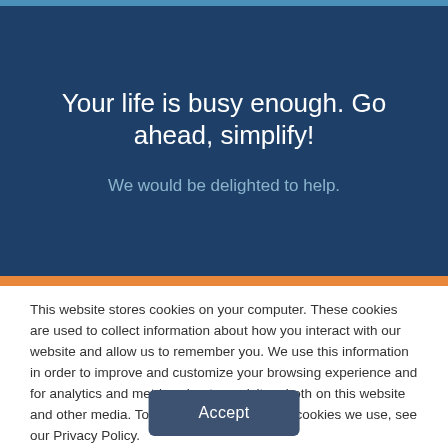Your life is busy enough. Go ahead, simplify!
We would be delighted to help.
This website stores cookies on your computer. These cookies are used to collect information about how you interact with our website and allow us to remember you. We use this information in order to improve and customize your browsing experience and for analytics and metrics about our visitors both on this website and other media. To find out more about the cookies we use, see our Privacy Policy.